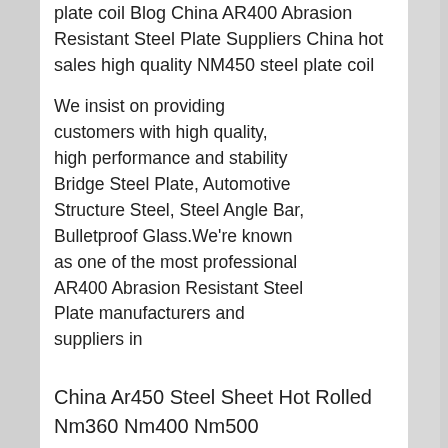plate coil Blog China AR400 Abrasion Resistant Steel Plate Suppliers China hot sales high quality NM450 steel plate coil
We insist on providing customers with high quality, high performance and stability Bridge Steel Plate, Automotive Structure Steel, Steel Angle Bar, Bulletproof Glass.We're known as one of the most professional AR400 Abrasion Resistant Steel Plate manufacturers and suppliers in
[Figure (photo): Customer service chat widget with 7X24 Online header, photo of woman with headset smiling, Hello,may I help you? message, and Get Latest Price button]
China Ar450 Steel Sheet Hot Rolled Nm360 Nm400 Nm500
China Ar450 Steel Sheet Hot Rolled Nm360 Nm400 Nm500 Nm600 Xar400 Xar500 Wear Resistant Steel Plate, Find